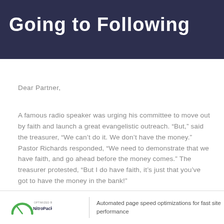Going to Following
Dear Partner,
A famous radio speaker was urging his committee to move out by faith and launch a great evangelistic outreach. “But,” said the treasurer, "We can’t do it. We don’t have the money.” Pastor Richards responded, “We need to demonstrate that we have faith, and go ahead before the money comes.” The treasurer protested, “But I do have faith, it’s just that you’ve got to have the money in the bank!”
Dear Partner,
OPTIMIZED BY NitroPack.io | Automated page speed optimizations for fast site performance